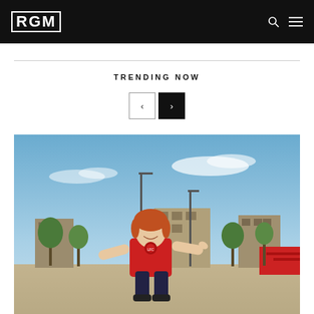RGM
TRENDING NOW
[Figure (photo): A young man with reddish hair wearing a red Liverpool FC shirt, arms outstretched with thumbs up, standing in an outdoor urban area with trees, buildings, and blue sky in the background.]